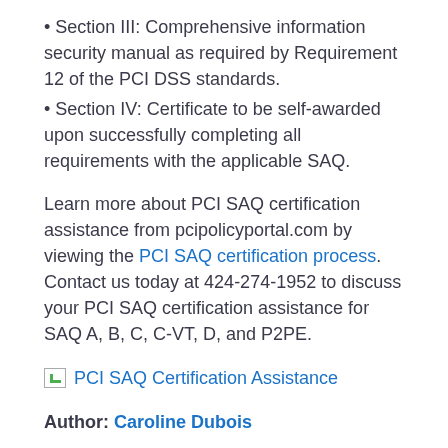• Section III: Comprehensive information security manual as required by Requirement 12 of the PCI DSS standards.
• Section IV: Certificate to be self-awarded upon successfully completing all requirements with the applicable SAQ.
Learn more about PCI SAQ certification assistance from pcipolicyportal.com by viewing the PCI SAQ certification process. Contact us today at 424-274-1952 to discuss your PCI SAQ certification assistance for SAQ A, B, C, C-VT, D, and P2PE.
[Figure (other): Broken image placeholder with alt text: PCI SAQ Certification Assistance]
Author: Caroline Dubois